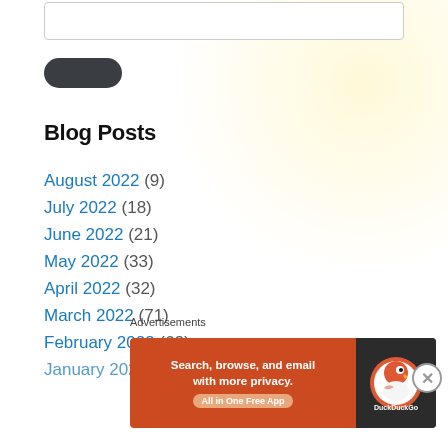Blog Posts
August 2022 (9)
July 2022 (18)
June 2022 (21)
May 2022 (33)
April 2022 (32)
March 2022 (71)
February 2022 (62)
January 2022 (104)
Advertisements
[Figure (infographic): DuckDuckGo advertisement banner: 'Search, browse, and email with more privacy. All in One Free App' with DuckDuckGo logo on dark background]